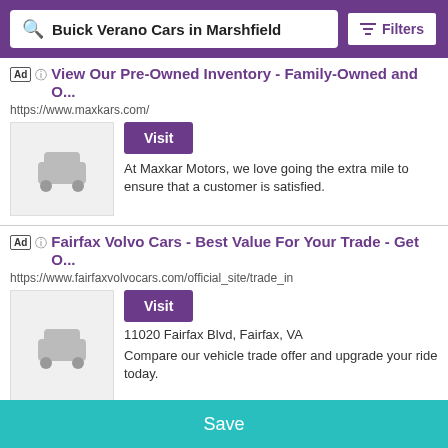Buick Verano Cars in Marshfield | Filters
Ad ℹ View Our Pre-Owned Inventory - Family-Owned and O...
https://www.maxkars.com/
Visit
At Maxkar Motors, we love going the extra mile to ensure that a customer is satisfied.
Ad ℹ Fairfax Volvo Cars - Best Value For Your Trade - Get O...
https://www.fairfaxvolvocars.com/official_site/trade_in
Visit
11020 Fairfax Blvd, Fairfax, VA
Compare our vehicle trade offer and upgrade your ride today.
Ad ℹ Land Rover Tysons Corner - Visit Us Today - Service ...
https://www.landrovertysonscorner.com/service/offer
Visit
Save